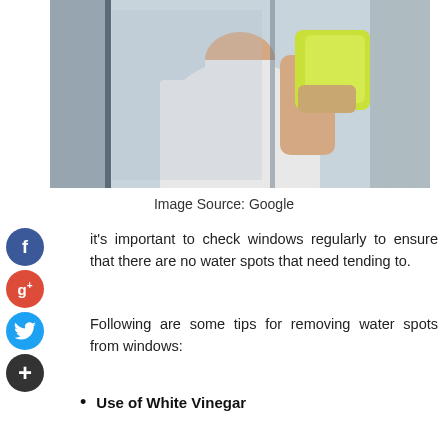[Figure (photo): Person in white t-shirt holding a yellow-green sponge, cleaning a glass mirror or shower door]
Image Source: Google
It's important to check windows regularly to ensure that there are no water spots that need tending to.
Following are some tips for removing water spots from windows:
Use of White Vinegar